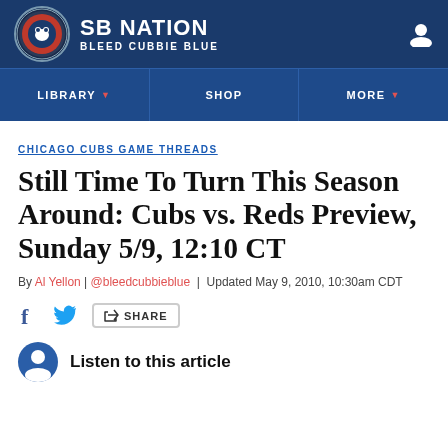SB NATION — BLEED CUBBIE BLUE
LIBRARY | SHOP | MORE
CHICAGO CUBS GAME THREADS
Still Time To Turn This Season Around: Cubs vs. Reds Preview, Sunday 5/9, 12:10 CT
By Al Yellon | @bleedcubbieblue | Updated May 9, 2010, 10:30am CDT
SHARE
Listen to this article